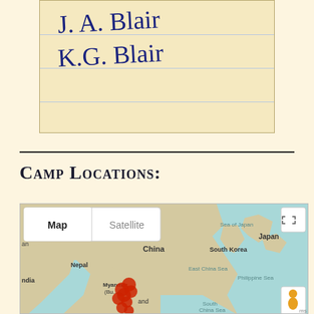[Figure (photo): Scanned index card with handwritten text in blue ink reading 'J.A. Blair' and 'K.G. Blair' on lined cream/tan card stock]
Camp Locations:
[Figure (map): Google Maps screenshot showing East/Southeast Asia region (China, Myanmar/Burma, South Korea, Japan, Nepal, India, Philippines) with multiple red location pins clustered in Myanmar (Burma) and surrounding area. Map controls show 'Map' and 'Satellite' toggle buttons and a fullscreen icon. A pegman/street view icon appears in the lower right.]